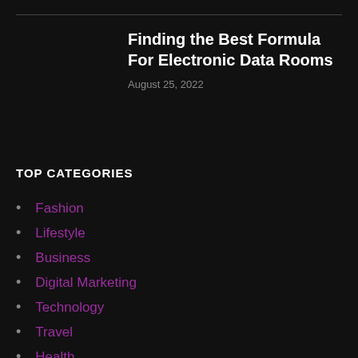Finding the Best Formula For Electronic Data Rooms
August 25, 2022
TOP CATEGORIES
Fashion
Lifestyle
Business
Digital Marketing
Technology
Travel
Health
Entertainment